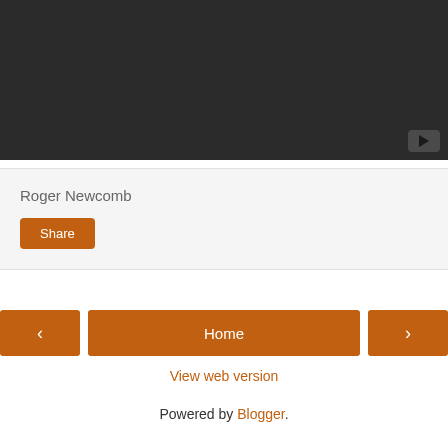[Figure (screenshot): Dark video player area with a play button in the bottom-right corner]
Roger Newcomb
Share
Home
View web version
Powered by Blogger.